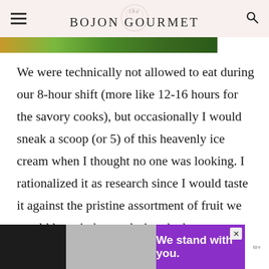the BOJON GOURMET
[Figure (photo): Partial view of a food/nature photo strip at top of article]
We were technically not allowed to eat during our 8-hour shift (more like 12-16 hours for the savory cooks), but occasionally I would sneak a scoop (or 5) of this heavenly ice cream when I thought no one was looking. I rationalized it as research since I would taste it against the pristine assortment of fruit we would have in house during the late summer: tropically scented fraises des bois, floral white peaches, vi... ly pears.
[Figure (screenshot): Advertisement banner: 'We stand with you.' in purple and gray/black sections with close button]